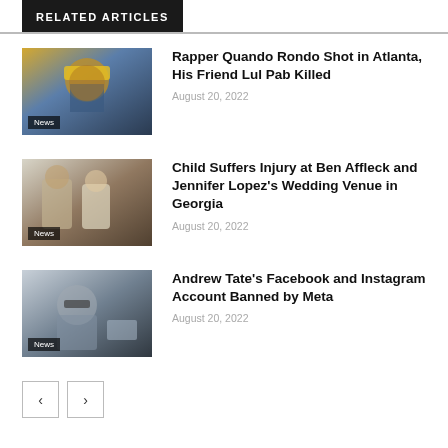RELATED ARTICLES
[Figure (photo): Rapper Quando Rondo wearing yellow beanie and blue jacket, pointing at camera]
Rapper Quando Rondo Shot in Atlanta, His Friend Lul Pab Killed
August 20, 2022
[Figure (photo): Ben Affleck and Jennifer Lopez walking together outdoors]
Child Suffers Injury at Ben Affleck and Jennifer Lopez's Wedding Venue in Georgia
August 20, 2022
[Figure (photo): Andrew Tate wearing sunglasses, sitting in private jet]
Andrew Tate's Facebook and Instagram Account Banned by Meta
August 20, 2022